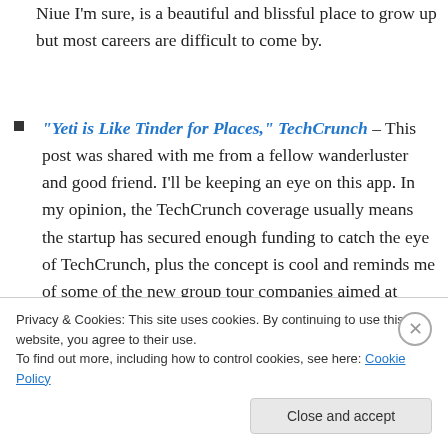Niue I'm sure, is a beautiful and blissful place to grow up but most careers are difficult to come by.
“Yeti is Like Tinder for Places,” TechCrunch – This post was shared with me from a fellow wanderluster and good friend. I’ll be keeping an eye on this app. In my opinion, the TechCrunch coverage usually means the startup has secured enough funding to catch the eye of TechCrunch, plus the concept is cool and reminds me of some of the new group tour companies aimed at curating itineraries for folks with similar interests, like The Trip Tribe and G Adventures.
Privacy & Cookies: This site uses cookies. By continuing to use this website, you agree to their use.
To find out more, including how to control cookies, see here: Cookie Policy